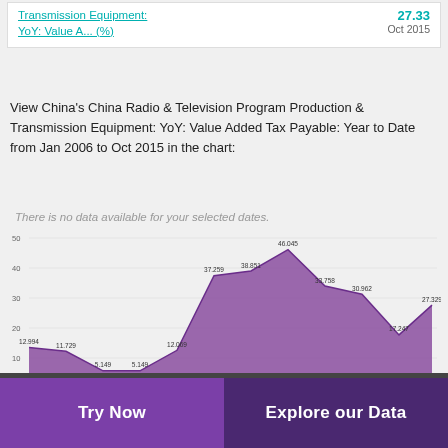Transmission Equipment: YoY: Value A... (%)   Oct 2015
View China's China Radio & Television Program Production & Transmission Equipment: YoY: Value Added Tax Payable: Year to Date from Jan 2006 to Oct 2015 in the chart:
[Figure (area-chart): Area chart showing CN: Radio & Television Program Production & Transmission Equipment: YoY: Value Added Tax Payable: ytd]
Try Now
Explore our Data